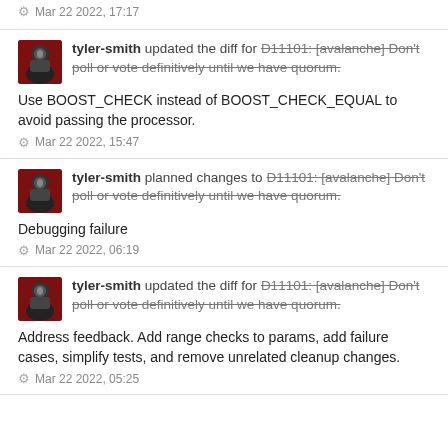Mar 22 2022, 17:17 (partial top)
tyler-smith updated the diff for D11101: [avalanche] Don't poll or vote definitively until we have quorum.
Use BOOST_CHECK instead of BOOST_CHECK_EQUAL to avoid passing the processor.
Mar 22 2022, 15:47
tyler-smith planned changes to D11101: [avalanche] Don't poll or vote definitively until we have quorum.
Debugging failure
Mar 22 2022, 06:19
tyler-smith updated the diff for D11101: [avalanche] Don't poll or vote definitively until we have quorum.
Address feedback. Add range checks to params, add failure cases, simplify tests, and remove unrelated cleanup changes.
Mar 22 2022, 05:25